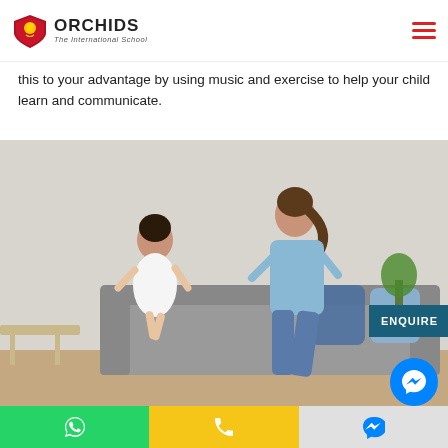ORCHIDS The International School
this to your advantage by using music and exercise to help your child learn and communicate.
[Figure (photo): A woman and a young girl dancing together in a living room. The girl wears a white dress and the woman wears a blue sweater and jeans. There is a grey sofa with decorative pillows in the background.]
ENQUIRE